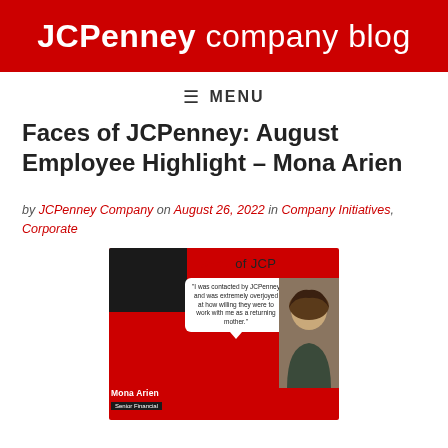JCPenney company blog
≡ MENU
Faces of JCPenney: August Employee Highlight – Mona Arien
by JCPenney Company on August 26, 2022 in Company Initiatives, Corporate
[Figure (photo): Faces of JCP promotional card featuring Mona Arien with a quote bubble reading 'I was contacted by JCPenney and was extremely overjoyed at how willing they were to work with me as a returning mother.' and her name and title Senior Financial at the bottom.]